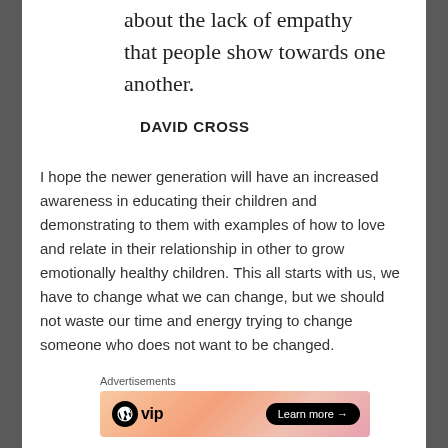about the lack of empathy that people show towards one another.
DAVID CROSS
I hope the newer generation will have an increased awareness in educating their children and demonstrating to them with examples of how to love and relate in their relationship in other to grow emotionally healthy children. This all starts with us, we have to change what we can change, but we should not waste our time and energy trying to change someone who does not want to be changed.
Advertisements
[Figure (other): WordPress VIP advertisement banner with 'Learn more' button]